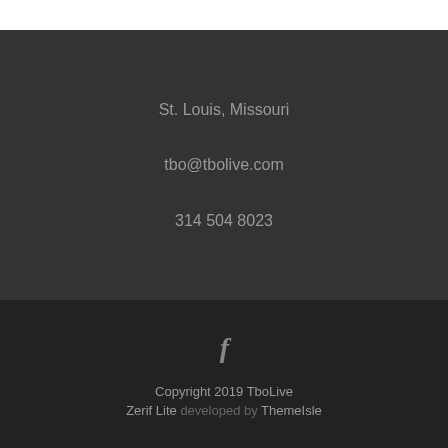St. Louis, Missouri
tbo@tbolive.com
314 504 8023
[Figure (illustration): Facebook logo icon (letter f) in gray]
Copyright 2019 TboLive Zerif Lite developed by ThemeIsle